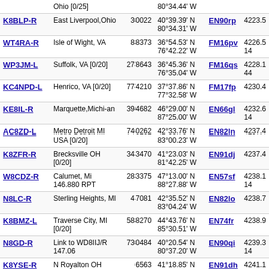| Callsign | Location | ID | Coordinates | Grid | Dist |
| --- | --- | --- | --- | --- | --- |
| Ohio [0/25] |  |  | 80°34.44' W |  |  |
| K8BLP-R | East Liverpool,Ohio | 30022 | 40°39.39' N 80°34.31' W | EN90rp | 4223.5 |
| WT4RA-R | Isle of Wight, VA | 88373 | 36°54.53' N 76°42.22' W | FM16pv | 4226.5 14 |
| WP3JM-L | Suffolk, VA [0/20] | 278643 | 36°45.36' N 76°35.04' W | FM16qs | 4228.1 44 |
| KC4NPD-L | Henrico, VA [0/20] | 774210 | 37°37.86' N 77°32.58' W | FM17fp | 4230.4 |
| KE8IL-R | Marquette,Michi-an | 394682 | 46°29.00' N 87°25.00' W | EN66gl | 4232.6 14 |
| AC8ZD-L | Metro Detroit MI USA [0/20] | 740262 | 42°33.76' N 83°00.23' W | EN82ln | 4237.4 |
| K8ZFR-R | Brecksville OH [0/20] | 343470 | 41°23.03' N 81°42.25' W | EN91dj | 4237.4 |
| W8CDZ-R | Calumet, Mi 146.880 RPT | 283375 | 47°13.00' N 88°27.88' W | EN57sf | 4238.1 14 |
| N8LC-R | Sterling Heights, MI | 47081 | 42°35.52' N 83°04.24' W | EN82lo | 4238.7 |
| K8BMZ-L | Traverse City, MI [0/20] | 588270 | 44°43.76' N 85°30.51' W | EN74fr | 4238.9 |
| N8GD-R | Link to WD8IIJ/R 147.06 | 730484 | 40°20.54' N 80°37.20' W | EN90qi | 4239.3 14 |
| K8YSE-R | N Royalton OH | 6563 | 41°18.85' N 81°43.15' W | EN91dh | 4241.1 44 |
| N8DMH-R | Traverse City, MI [0/20] | 766199 | 44°49.19' N 85°42.01' W | EN74dt | 4242.1 |